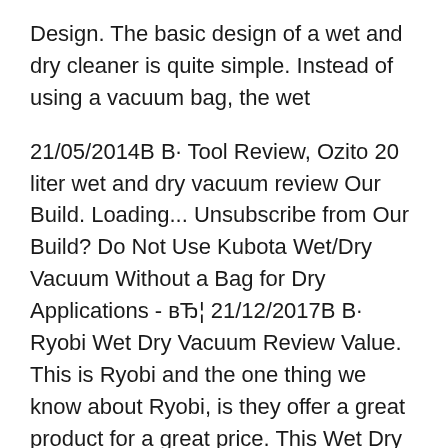Design. The basic design of a wet and dry cleaner is quite simple. Instead of using a vacuum bag, the wet
21/05/2014В В· Tool Review, Ozito 20 liter wet and dry vacuum review Our Build. Loading... Unsubscribe from Our Build? Do Not Use Kubota Wet/Dry Vacuum Without a Bag for Dry Applications - вЂ¦ 21/12/2017В В· Ryobi Wet Dry Vacuum Review Value. This is Ryobi and the one thing we know about Ryobi, is they offer a great product for a great price. This Wet Dry vacuum (Bare Tool) retails for about $100 at The Home Depot. I have seen some wet dry vacuums sell for less but this one is powerful and best of all, you don't need an outlet. $100 is a steal.